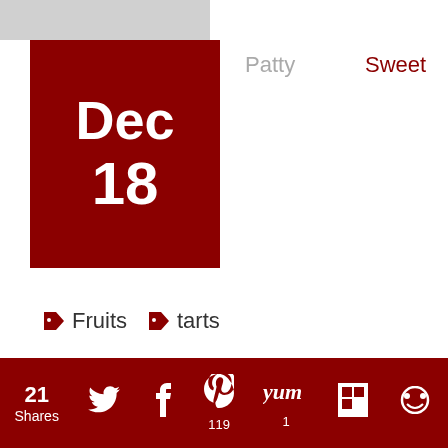[Figure (other): Grey image strip at top left]
Dec
18
Patty
Sweet
Fruits
tarts
User Rating: 5 / 5 Vote 3
To vote, click on the stars
Rate
21 Shares  119  1